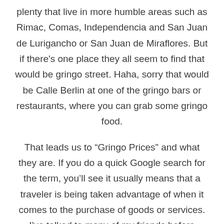plenty that live in more humble areas such as Rimac, Comas, Independencia and San Juan de Lurigancho or San Juan de Miraflores. But if there's one place they all seem to find that would be gringo street. Haha, sorry that would be Calle Berlin at one of the gringo bars or restaurants, where you can grab some gringo food.
That leads us to “Gringo Prices” and what they are. If you do a quick Google search for the term, you’ll see it usually means that a traveler is being taken advantage of when it comes to the purchase of goods or services. I’ve talked to many of my friends before writing this post and most